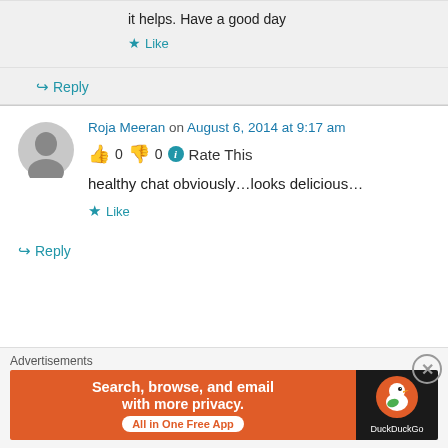it helps. Have a good day
★ Like
↪ Reply
Roja Meeran on August 6, 2014 at 9:17 am
👍 0 👎 0 ℹ Rate This
healthy chat obviously…looks delicious…
★ Like
↪ Reply
Advertisements
[Figure (screenshot): DuckDuckGo advertisement banner: orange left side reading 'Search, browse, and email with more privacy. All in One Free App' and dark right side with DuckDuckGo logo]